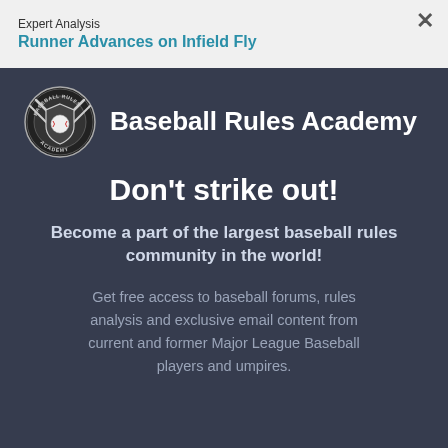Expert Analysis
Runner Advances on Infield Fly
[Figure (logo): Baseball Rules Academy circular logo with crossed bats, shield, and baseball in black and white]
Baseball Rules Academy
Don't strike out!
Become a part of the largest baseball rules community in the world!
Get free access to baseball forums, rules analysis and exclusive email content from current and former Major League Baseball players and umpires.